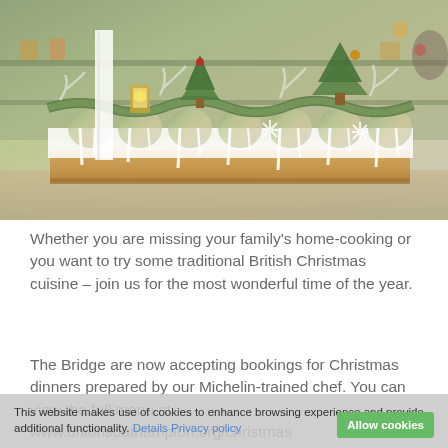[Figure (photo): A long decorated table or shelf with Christmas garlands, frosted pine branches, white icicle decorations, and potted Christmas trees with ornaments, inside what appears to be a shop or event venue.]
Whether you are missing your family's home-cooking or you want to try some traditional British Christmas cuisine – join us for the most wonderful time of the year.
The Bridge are now accepting bookings for Christmas dinners prepared by our Michelin-trained chef. You can view the full menu at www.unionsouthampton.org/christmas
This website makes use of cookies to enhance browsing experience and provide additional functionality. Details Privacy policy Allow cookies